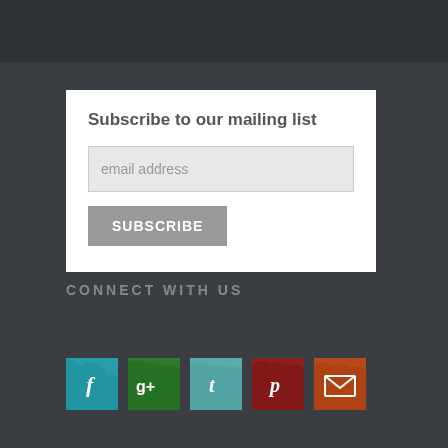Subscribe to our mailing list
email address
SUBSCRIBE
CONNECT WITH US
[Figure (infographic): Five social media icon buttons with brush-stroke texture: Facebook (f), Google+ (g+), Tumblr (t), Pinterest (p), and Email (envelope icon)]